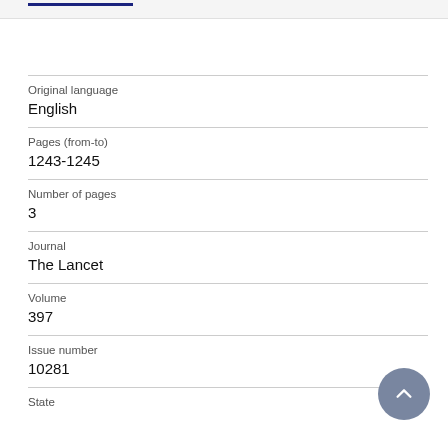| Field | Value |
| --- | --- |
| Original language | English |
| Pages (from-to) | 1243-1245 |
| Number of pages | 3 |
| Journal | The Lancet |
| Volume | 397 |
| Issue number | 10281 |
| State |  |